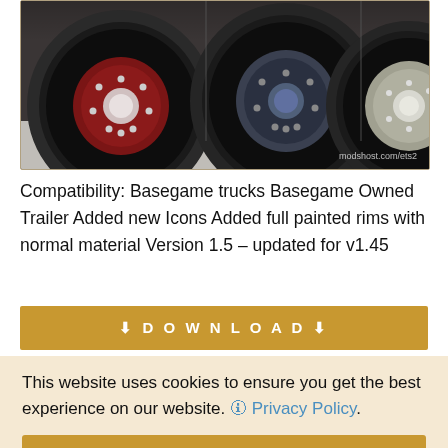[Figure (photo): Three large truck wheels/tires shown side by side, with different colored rims (dark red, blue-gray, silver). Watermark reads 'modshost.com/ets2' in lower right.]
Compatibility: Basegame trucks Basegame Owned Trailer Added new Icons Added full painted rims with normal material Version 1.5 – updated for v1.45
[Figure (other): Golden download button with download icons and text 'DOWNLOAD']
This website uses cookies to ensure you get the best experience on our website. 🛈 Privacy Policy.
[Figure (other): Golden 'Got it!' button for cookie consent]